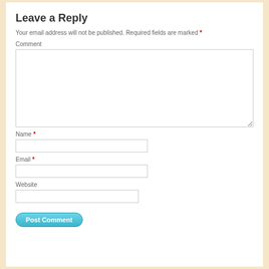Leave a Reply
Your email address will not be published. Required fields are marked *
Comment
Name *
Email *
Website
Post Comment